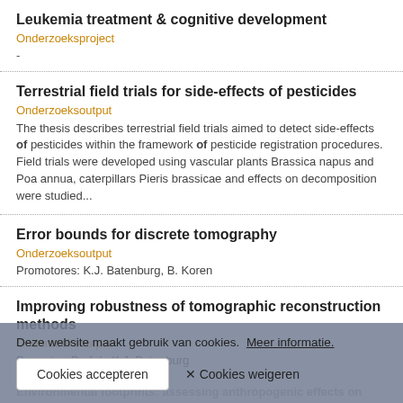Leukemia treatment & cognitive development
Onderzoeksproject
-
Terrestrial field trials for side-effects of pesticides
Onderzoeksoutput
The thesis describes terrestrial field trials aimed to detect side-effects of pesticides within the framework of pesticide registration procedures. Field trials were developed using vascular plants Brassica napus and Poa annua, caterpillars Pieris brassicae and effects on decomposition were studied...
Error bounds for discrete tomography
Onderzoeksoutput
Promotores: K.J. Batenburg, B. Koren
Improving robustness of tomographic reconstruction methods
Onderzoeksoutput
Promotor: Prof.dr. K.J. Batenburg
Environmental footprints: assessing anthropogenic effects on biodiversity impact...
Deze website maakt gebruik van cookies. Meer informatie.
Cookies accepteren   ✕ Cookies weigeren